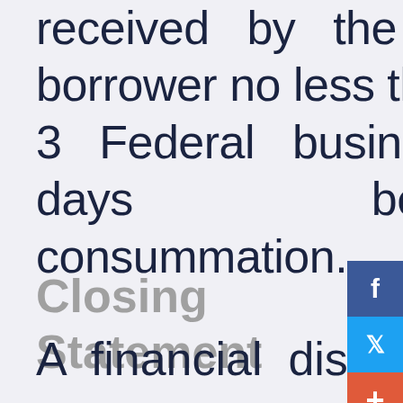received by the borrower no less than 3 Federal business days before consummation.
Closing Statement
A financial disclosure statement that lists the